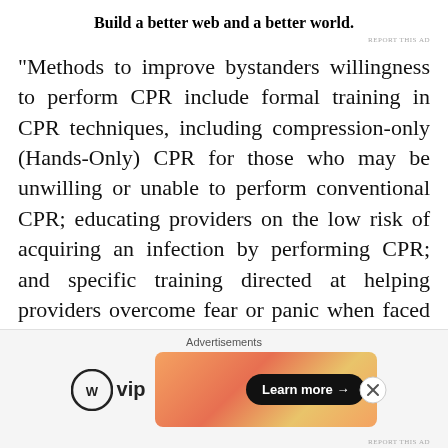Build a better web and a better world.
"Methods to improve bystanders willingness to perform CPR include formal training in CPR techniques, including compression-only (Hands-Only) CPR for those who may be unwilling or unable to perform conventional CPR; educating providers on the low risk of acquiring an infection by performing CPR; and specific training directed at helping providers overcome fear or panic when faced with a actual cardiac arrest victim."
American Heart Association further states in the below paragraph about the role of EMS in an emergency situation and transfer of instruction to untraine
[Figure (screenshot): Advertisement bar at bottom showing WordPress VIP logo on left and an orange/salmon gradient banner ad with 'Learn more →' button on right, labeled 'Advertisements']